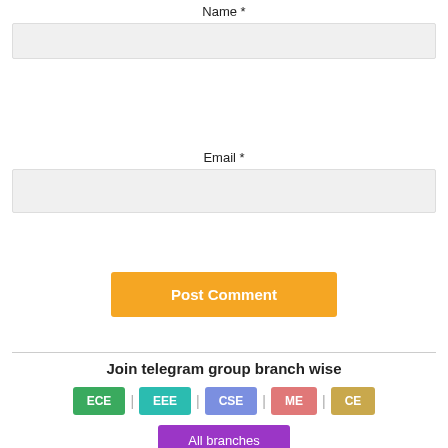Name *
Email *
Post Comment
Join telegram group branch wise
ECE | EEE | CSE | ME | CE
All branches